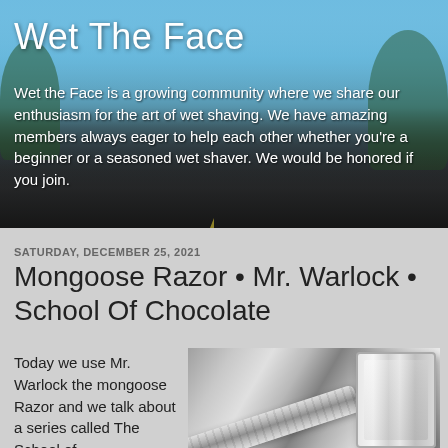[Figure (photo): Header banner with blurred outdoor road/highway background showing sky, trees, and asphalt road with yellow center lines]
Wet The Face
Wet the Face is a growing community where we share our enthusiasm for the art of wet shaving. We have amazing members always eager to help each other whether you're a beginner or a seasoned wet shaver. We would be honored if you join.
SATURDAY, DECEMBER 25, 2021
Mongoose Razor • Mr. Warlock • School Of Chocolate
Today we use Mr. Warlock the mongoose Razor and we talk about a series called The School of
[Figure (photo): Close-up photo of a chrome safety razor (Mongoose Razor / Mr. Warlock) on a gray background, showing the textured handle and razor head in detail]